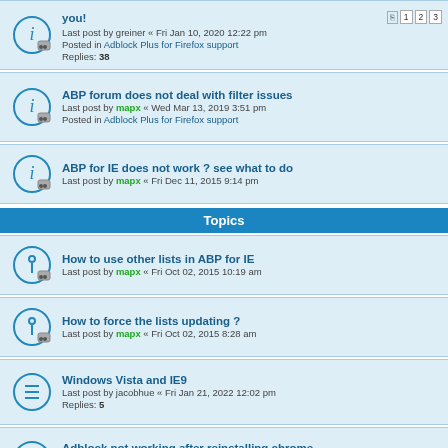you! Last post by greiner « Fri Jan 10, 2020 12:22 pm Posted in Adblock Plus for Firefox support Replies: 38
ABP forum does not deal with filter issues Last post by mapx « Wed Mar 13, 2019 3:51 pm Posted in Adblock Plus for Firefox support
ABP for IE does not work ? see what to do Last post by mapx « Fri Dec 11, 2015 9:14 pm
Topics
How to use other lists in ABP for IE Last post by mapx « Fri Oct 02, 2015 10:19 am
How to force the lists updating ? Last post by mapx « Fri Oct 02, 2015 8:28 am
Windows Vista and IE9 Last post by jacobhue « Fri Jan 21, 2022 12:02 pm Replies: 5
Adblock not working after reinstalling chrome Last post by sumitarb « Sun Sep 26, 2021 12:10 pm Replies: 4
Answering "Yes" to AdBlock Plus pop up does nothing Last post by CaolanColley « Thu Sep 09, 2021 12:59 am
Slow Internet Speed Last post by hansblocker « Fri Mar 19, 2021 5:05 pm